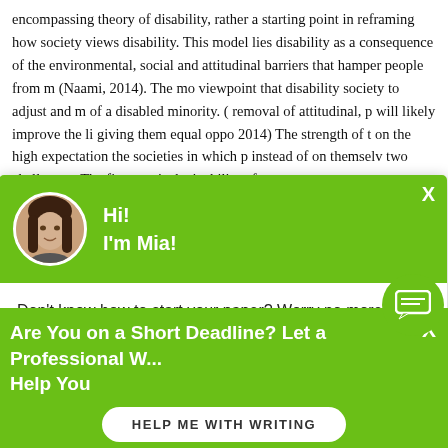encompassing theory of disability, rather a starting point in reframing how society views disability. This model lies disability as a consequence of the environmental, social and attitudinal barriers that hamper people from m... (Naami, 2014). The mo... viewpoint that disability... society to adjust and m... of a disabled minority. (... removal of attitudinal, p... will likely improve the li... giving them equal oppo... 2014) The strength of t... on the high expectation... the societies in which p... instead of on themselv... two challenges. The first one is the inability of so-
[Figure (screenshot): Chat popup with green header showing avatar of woman and greeting 'Hi! I'm Mia!', body text 'Don't know how to start your paper? Worry no more! Get professional writing assistance from me.' and 'Check it out' link]
Are You on a Short Deadline? Let a Professional W... Help You
HELP ME WITH WRITING